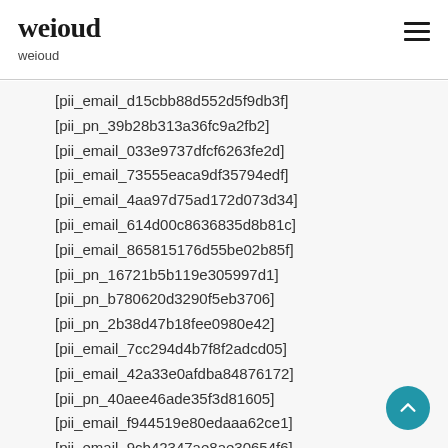weioud
weioud
[pii_email_d15cbb88d552d5f9db3f]
[pii_pn_39b28b313a36fc9a2fb2]
[pii_email_033e9737dfcf6263fe2d]
[pii_email_73555eaca9df35794edf]
[pii_email_4aa97d75ad172d073d34]
[pii_email_614d00c8636835d8b81c]
[pii_email_865815176d55be02b85f]
[pii_pn_16721b5b119e305997d1]
[pii_pn_b780620d3290f5eb3706]
[pii_pn_2b38d47b18fee0980e42]
[pii_email_7cc294d4b7f8f2adcd05]
[pii_email_42a33e0afdba84876172]
[pii_pn_40aee46ade35f3d81605]
[pii_email_f944519e80edaaa62ce1]
[pii_email_9cb42347ae8ae30654f6]